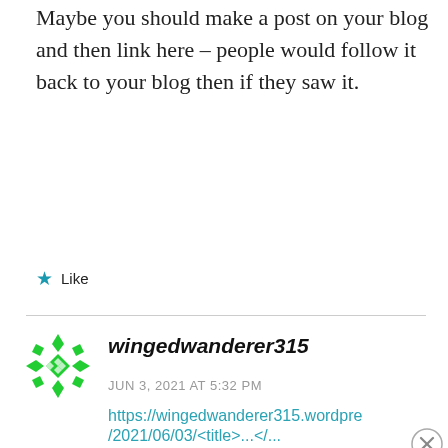Maybe you should make a post on your blog and then link here – people would follow it back to your blog then if they saw it.
Like
wingedwanderer315
JUN 3, 2021 AT 5:32 PM
https://wingedwanderer315.wordpre
Advertisements
[Figure (screenshot): DuckDuckGo advertisement banner: orange left panel with text 'Search, browse, and email with more privacy. All in One Free App', dark right panel with DuckDuckGo duck logo and brand name.]